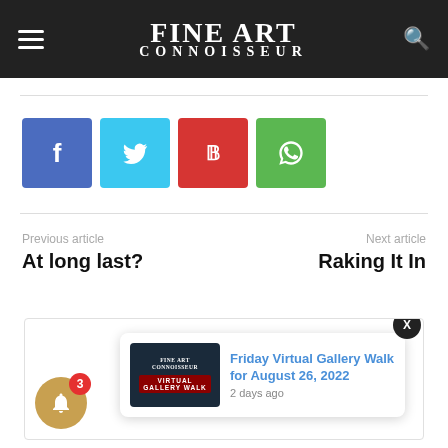FINE ART CONNOISSEUR
[Figure (other): Social share buttons: Facebook (blue), Twitter (cyan), Pinterest (red), WhatsApp (green)]
Previous article
At long last?
Next article
Raking It In
[Figure (screenshot): Bottom section of page with thumbnail image partially visible and Fine Art Connoisseur Virtual Gallery Walk notification popup. Close button (X) in black circle at top right. Notification bell icon with badge showing 3. Notification card showing 'Friday Virtual Gallery Walk for August 26, 2022' published 2 days ago.]